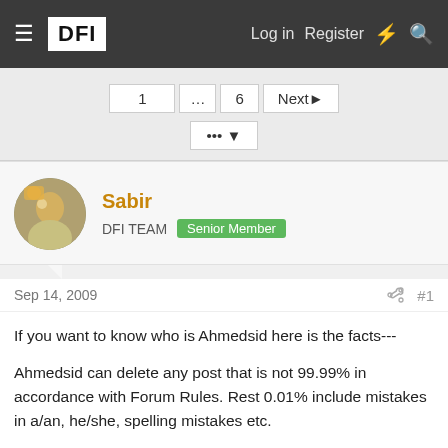DFI | Log in | Register
1 ... 6 Next ▶ ••• ▼
Sabir
DFI TEAM  Senior Member
Sep 14, 2009  #1
If you want to know who is Ahmedsid here is the facts---

Ahmedsid can delete any post that is not 99.99% in accordance with Forum Rules. Rest 0.01% include mistakes in a/an, he/she, spelling mistakes etc.

Black coloured IDs are actually caused by Ahmedsid banning people faster than other mods can warn them.